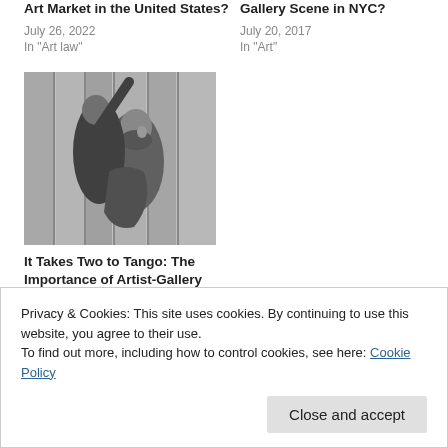Art Market in the United States?
July 26, 2022
In "Art law"
Gallery Scene in NYC?
July 20, 2017
In "Art"
[Figure (photo): Black and white photo of a couple dancing tango, man lifting woman's arm]
It Takes Two to Tango: The Importance of Artist-Gallery Contracts
August 15, 2016
Privacy & Cookies: This site uses cookies. By continuing to use this website, you agree to their use.
To find out more, including how to control cookies, see here: Cookie Policy
Close and accept